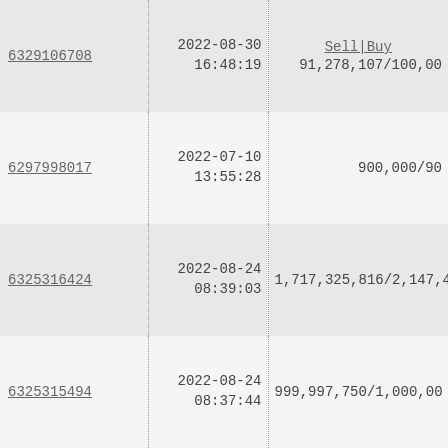| ID | Date/Time | Sell/Buy Volume |
| --- | --- | --- |
| 6329106708 | 2022-08-30 16:48:19 | Sell|Buy 91,278,107/100,00... |
| 6297998017 | 2022-07-10 13:55:28 | 900,000/90... |
| 6325316424 | 2022-08-24 08:39:03 | 1,717,325,816/2,147,48... |
| 6325315494 | 2022-08-24 08:37:44 | 999,997,750/1,000,00... |